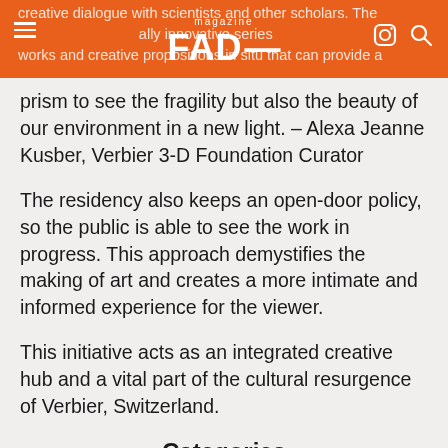creative dialogue with scientists and other scholars. The aim is to generate radically innovative series of works and creative propositions in situ that can provide a
prism to see the fragility but also the beauty of our environment in a new light. – Alexa Jeanne Kusber, Verbier 3-D Foundation Curator
The residency also keeps an open-door policy, so the public is able to see the work in progress. This approach demystifies the making of art and creates a more intimate and informed experience for the viewer.
This initiative acts as an integrated creative hub and a vital part of the cultural resurgence of Verbier, Switzerland.
Categories
ART NEWS